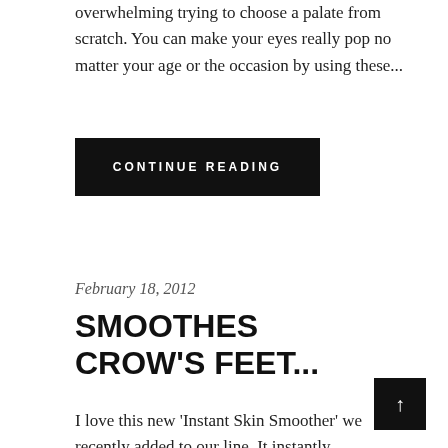overwhelming trying to choose a palate from scratch. You can make your eyes really pop no matter your age or the occasion by using these...
CONTINUE READING
February 18, 2012
SMOOTHES CROW'S FEET...
I love this new 'Instant Skin Smoother' we recently added to our line. It instantly